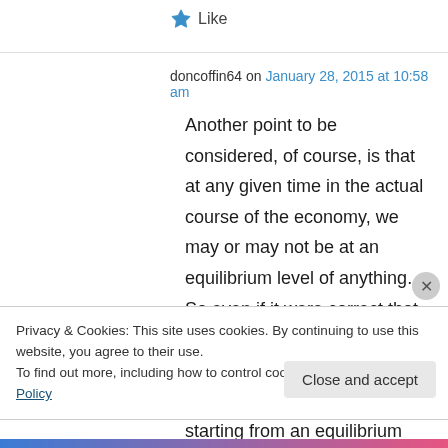★ Like
doncoffin64 on January 28, 2015 at 10:58 am
Another point to be considered, of course, is that at any given time in the actual course of the economy, we may or may not be at an equilibrium level of anything. So even if it were correct that the long-run expectation augmented Phillips curve were vertical, if we are not starting from an equilibrium level of unemployment, the
Privacy & Cookies: This site uses cookies. By continuing to use this website, you agree to their use.
To find out more, including how to control cookies, see here: Cookie Policy
Close and accept